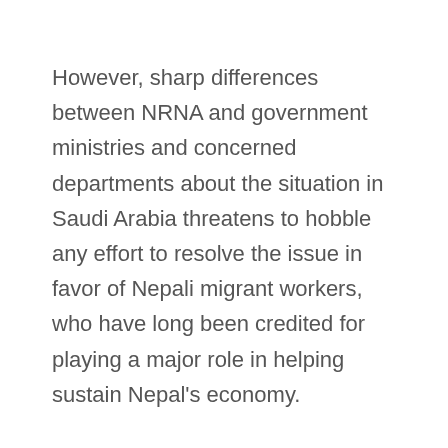However, sharp differences between NRNA and government ministries and concerned departments about the situation in Saudi Arabia threatens to hobble any effort to resolve the issue in favor of Nepali migrant workers, who have long been credited for playing a major role in helping sustain Nepal's economy.
Surprisingly, while the government estimates the number of Nepali migrant